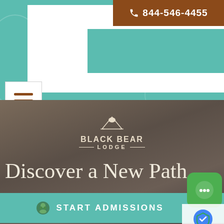844-546-4455
SUBSCRIBE
[Figure (screenshot): Hamburger menu icon with three horizontal brown lines on white background]
[Figure (logo): Black Bear Lodge logo with mountain/bear silhouette icon above text]
Discover a New Path
START ADMISSIONS
[Figure (screenshot): Green chat bubble icon overlay]
[Figure (screenshot): Google Privacy and Terms small widget]